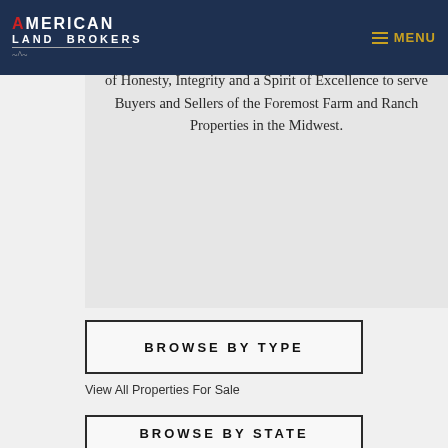American Land Brokers — MENU
WHO WE ARE:
American Land Brokers is built on the biblical principles of Honesty, Integrity and a Spirit of Excellence to serve Buyers and Sellers of the Foremost Farm and Ranch Properties in the Midwest.
BROWSE BY TYPE
View All Properties For Sale
BROWSE BY STATE